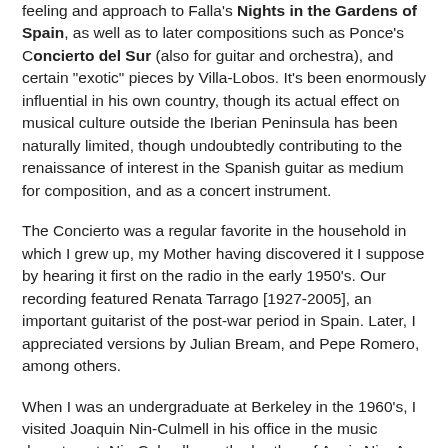feeling and approach to Falla's Nights in the Gardens of Spain, as well as to later compositions such as Ponce's Concierto del Sur (also for guitar and orchestra), and certain "exotic" pieces by Villa-Lobos. It's been enormously influential in his own country, though its actual effect on musical culture outside the Iberian Peninsula has been naturally limited, though undoubtedly contributing to the renaissance of interest in the Spanish guitar as medium for composition, and as a concert instrument.
The Concierto was a regular favorite in the household in which I grew up, my Mother having discovered it I suppose by hearing it first on the radio in the early 1950's. Our recording featured Renata Tarrago [1927-2005], an important guitarist of the post-war period in Spain. Later, I appreciated versions by Julian Bream, and Pepe Romero, among others.
When I was an undergraduate at Berkeley in the 1960's, I visited Joaquin Nin-Culmell in his office in the music department. Nin-Culmell was the brother of Anais Nin. As children, they lived for a time in New York City, then moved